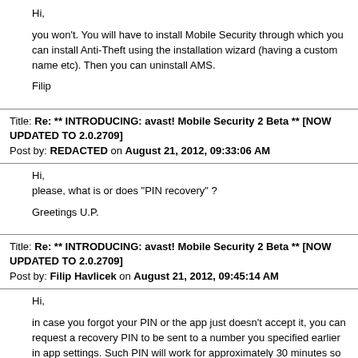Hi,

you won't. You will have to install Mobile Security through which you can install Anti-Theft using the installation wizard (having a custom name etc). Then you can uninstall AMS.

Filip
Title: Re: ** INTRODUCING: avast! Mobile Security 2 Beta ** [NOW UPDATED TO 2.0.2709]
Post by: REDACTED on August 21, 2012, 09:33:06 AM
Hi,
please, what is or does "PIN recovery" ?

Greetings U.P.
Title: Re: ** INTRODUCING: avast! Mobile Security 2 Beta ** [NOW UPDATED TO 2.0.2709]
Post by: Filip Havlicek on August 21, 2012, 09:45:14 AM
Hi,

in case you forgot your PIN or the app just doesn't accept it, you can request a recovery PIN to be sent to a number you specified earlier in app settings. Such PIN will work for approximately 30 minutes so you can access the app and change the actual PIN.